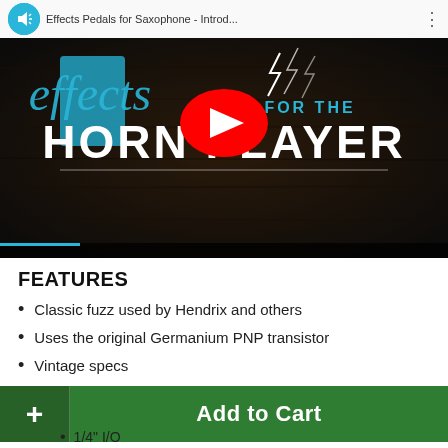[Figure (screenshot): YouTube video thumbnail for 'Effects Pedals for Saxophone - Introd...' showing a dark wood background with blue stylized 'effects' script text, a red YouTube play button, 'FOR THE' in blue and 'HORN PLAYER' in white bold text. Channel icon shown in top bar.]
FEATURES
Classic fuzz used by Hendrix and others
Uses the original Germanium PNP transistor
Vintage specs
[Figure (screenshot): Green 'Add to Cart' button with a '+' symbol on the left side in a darker green box]
1/4" I/O